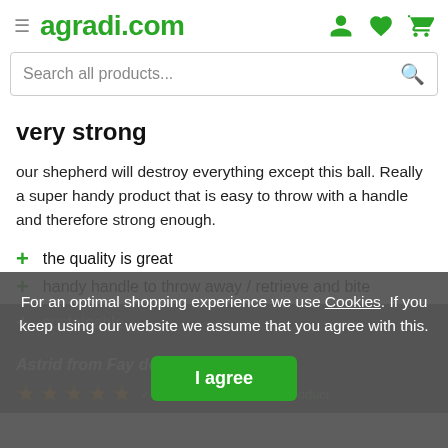agradi.com
Search all products...
very strong
our shepherd will destroy everything except this ball. Really a super handy product that is easy to throw with a handle and therefore strong enough.
the quality is great
handy handle to throw away / retrieve and bite
sustainable
Astrid from Fay de breta... ...6/2022:
Yes, I recommend this product
For an optimal shopping experience we use Cookies. If you keep using our website we assume that you agree with this.